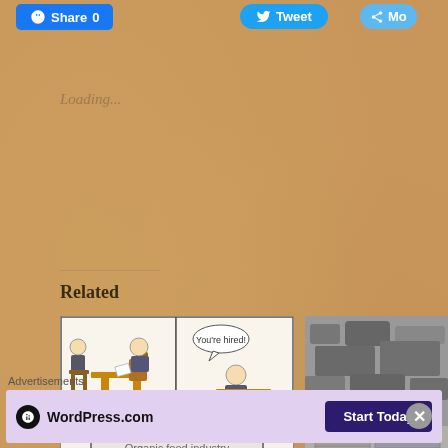Share 0   Tweet   Mo
Loading...
Related
[Figure (illustration): Comic strip showing job interview: two characters at desk, one says 'You're hired!', next panel shows 'Organic food industry' building entrance]
#BigOrganic
March 4, 2021
In "economics of information"
[Figure (photo): Photo of stacked industrial materials or garbage, partially cropped]
Creative destr
February 7, 20
In "econo
Advertisements
[Figure (logo): WordPress.com advertisement with logo and 'Start Today' button on purple background]